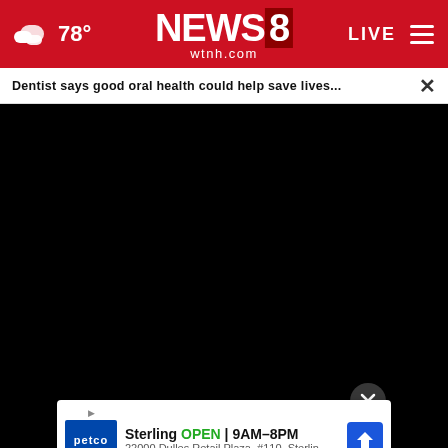78° NEWS8 wtnh.com LIVE
Dentist says good oral health could help save lives...
[Figure (screenshot): Video player showing a black screen (no content loaded), with progress bar at 00:00 and playback controls including play button, mute button, timestamp, and fullscreen button.]
[Figure (photo): Close-up photo of a person's mouth/teeth area with pinkish/tan skin tones.]
Sterling OPEN | 9AM–8PM 22000 Dulles Retail Plaza, #110, Sterlin…